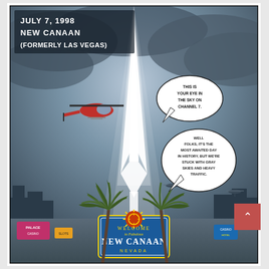[Figure (illustration): Comic book page panel set in New Canaan (formerly Las Vegas), July 7, 1998. Shows a dramatic glowing white spire/beacon shooting into a dark stormy sky. A red helicopter flies on the left. Multiple smaller helicopters visible in mid-background. Palm trees flank a 'Welcome to Fabulous New Canaan, Nevada' sign at the bottom (styled like the famous Las Vegas sign). Las Vegas cityscape visible in the background. Two speech bubbles: first reads 'THIS IS YOUR EYE IN THE SKY ON CHANNEL 7.' Second reads 'WELL FOLKS, IT'S THE MOST AWAITED DAY IN HISTORY, BUT WE'RE STUCK WITH GRAY SKIES AND HEAVY TRAFFIC.' Caption text in upper left reads 'JULY 7, 1998 / NEW CANAAN / (FORMERLY LAS VEGAS)']